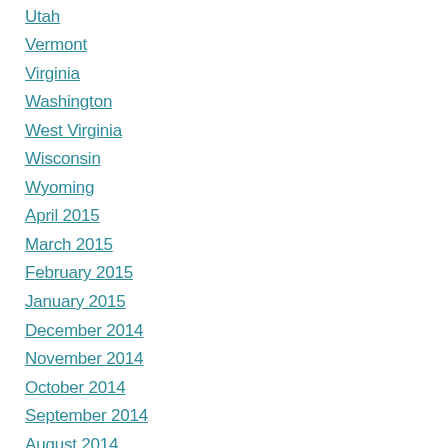Utah
Vermont
Virginia
Washington
West Virginia
Wisconsin
Wyoming
April 2015
March 2015
February 2015
January 2015
December 2014
November 2014
October 2014
September 2014
August 2014
July 2014
June 2014
May 2014